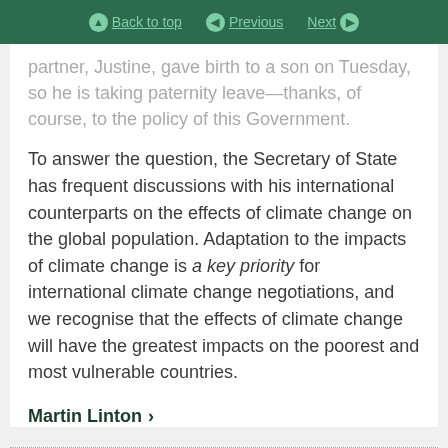Back to top | Previous | Next
partner, Justine, gave birth to a son on Tuesday, so he is taking paternity leave—thanks, of course, to the policy of this Government.
To answer the question, the Secretary of State has frequent discussions with his international counterparts on the effects of climate change on the global population. Adaptation to the impacts of climate change is a key priority for international climate change negotiations, and we recognise that the effects of climate change will have the greatest impacts on the poorest and most vulnerable countries.
Martin Linton ›